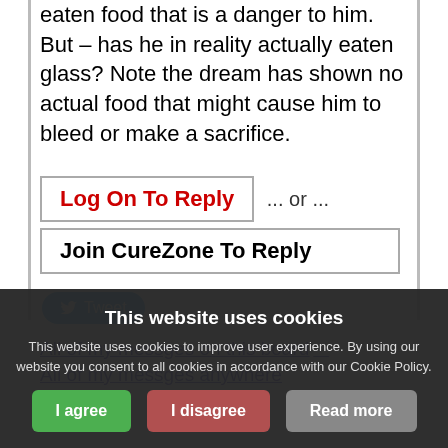eaten food that is a danger to him. But – has he in reality actually eaten glass? Note the dream has shown no actual food that might cause him to bleed or make a sacrifice.
Log On To Reply ... or ...
Join CureZone To Reply
[Figure (other): Tweet button with Twitter bird icon]
All of my messges on this board    All of my messges anywhere
This website uses cookies
This website uses cookies to improve user experience. By using our website you consent to all cookies in accordance with our Cookie Policy.
I agree   I disagree   Read more